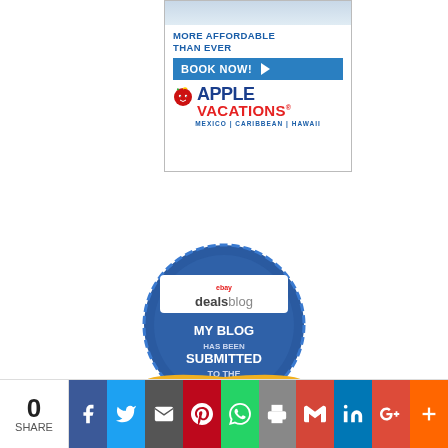[Figure (advertisement): Apple Vacations advertisement: 'MORE AFFORDABLE THAN EVER' with BOOK NOW button, Apple Vacations logo, MEXICO | CARIBBEAN | HAWAII]
[Figure (infographic): eBay deals blog badge: MY BLOG HAS BEEN SUBMITTED TO THE 2013 FRUGAL BLOG AWARDS]
[Figure (infographic): Social share bar with count 0 SHARE and buttons: Facebook, Twitter, Email, Pinterest, WhatsApp, Print, Gmail, LinkedIn, Google+, More]